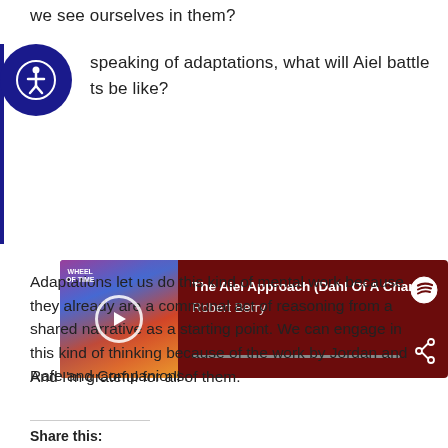we see ourselves in them?
speaking of adaptations, what will Aiel battle ts be like?
[Figure (screenshot): Spotify embedded player showing 'The Aiel Approach (Dahl Of A Chant)' by Robert Berry, with dark red background, album art, play button, progress bar, Spotify logo, and share icon.]
Adaptations let us do this kind of mental work because they already are a communal act of reasoning from a shared narrative as a starting point. We can engage in this kind of thinking because of the work by Jordan and Rafe and Companions.
And I'm grateful for all of them.
Share this: